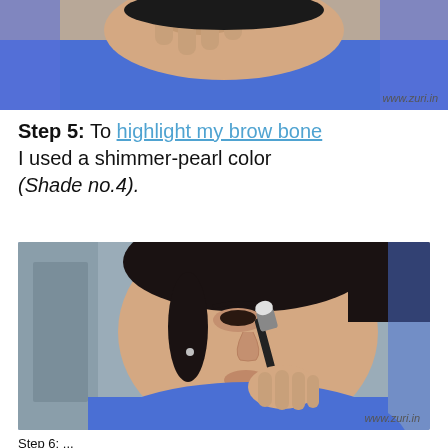[Figure (photo): Top portion of a makeup tutorial photo showing a woman in a blue top applying eye makeup, with www.zuri.in watermark in bottom right]
Step 5: To highlight my brow bone I used a shimmer-pearl color (Shade no.4).
[Figure (photo): Makeup tutorial photo showing a woman in a blue top applying highlighter to her brow bone area using a brush, with www.zuri.in watermark in bottom right]
Step 6: ...